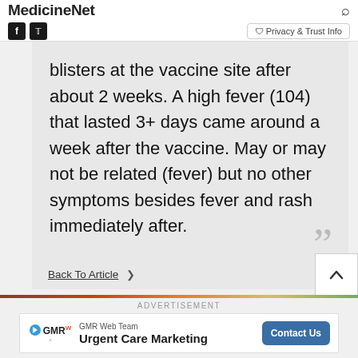MedicineNet — Privacy & Trust Info
blisters at the vaccine site after about 2 weeks. A high fever (104) that lasted 3+ days came around a week after the vaccine. May or may not be related (fever) but no other symptoms besides fever and rash immediately after.
Back To Article >
ADVERTISEMENT
[Figure (other): GMR Web Team advertisement banner for Urgent Care Marketing with Contact Us button]